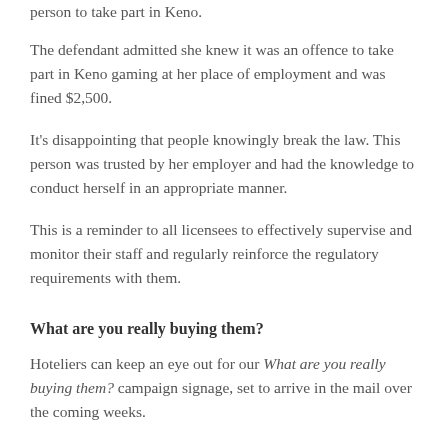person to take part in Keno.
The defendant admitted she knew it was an offence to take part in Keno gaming at her place of employment and was fined $2,500.
It's disappointing that people knowingly break the law. This person was trusted by her employer and had the knowledge to conduct herself in an appropriate manner.
This is a reminder to all licensees to effectively supervise and monitor their staff and regularly reinforce the regulatory requirements with them.
What are you really buying them?
Hoteliers can keep an eye out for our What are you really buying them? campaign signage, set to arrive in the mail over the coming weeks.
This secondary supply campaign, which replaces the